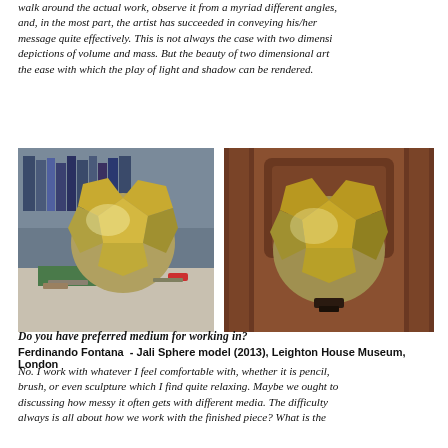walk around the actual work, observe it from a myriad different angles, and, in the most part, the artist has succeeded in conveying his/her message quite effectively. This is not always the case with two dimensional depictions of volume and mass. But the beauty of two dimensional art is the ease with which the play of light and shadow can be rendered.
[Figure (photo): Two photos of a Jali Sphere model – a geodesic sphere made of gold/silver panels. Left image shows the model on a workbench with tools. Right image shows the finished model displayed in a decorative interior setting.]
Do you have preferred medium for working in?
Ferdinando Fontana - Jali Sphere model (2013), Leighton House Museum, London
No. I work with whatever I feel comfortable with, whether it is pencil, brush, or even sculpture which I find quite relaxing. Maybe we ought to discussing how messy it often gets with different media. The difficulty always is all about how we work with the finished piece? What is the